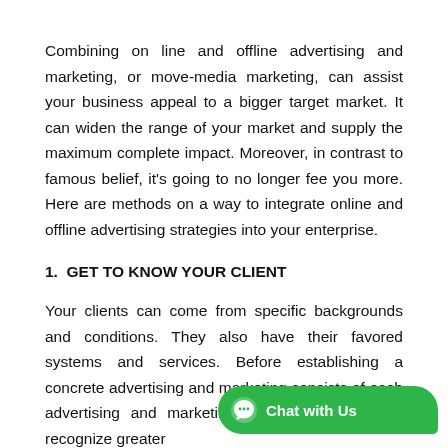Combining on line and offline advertising and marketing, or move-media marketing, can assist your business appeal to a bigger target market. It can widen the range of your market and supply the maximum complete impact. Moreover, in contrast to famous belief, it's going to no longer fee you more. Here are methods on a way to integrate online and offline advertising strategies into your enterprise.
1.  GET TO KNOW YOUR CLIENT
Your clients can come from specific backgrounds and conditions. They also have their favored systems and services. Before establishing a concrete advertising and marketing consists of each advertising and marketing manner you need to recognize greater